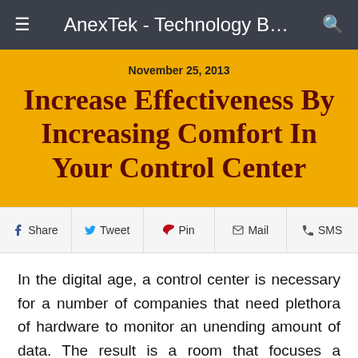AnexTek - Technology B...
November 25, 2013
Increase Effectiveness By Increasing Comfort In Your Control Center
Share  Tweet  Pin  Mail  SMS
In the digital age, a control center is necessary for a number of companies that need plethora of hardware to monitor an unending amount of data. The result is a room that focuses a number of individuals to both the screens